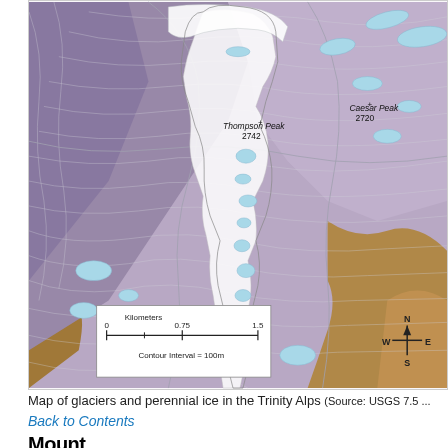[Figure (map): Topographic map of glaciers and perennial ice in the Trinity Alps showing contour lines, glacier outlines in white/grey, glacial lakes in light blue, and terrain shading in purple/brown tones. Labels include Thompson Peak at 2742m and Caesar Peak at 2720m. A scale bar shows 0 to 1.5 kilometers and a compass rose is visible. Contour interval is 100m.]
Map of glaciers and perennial ice in the Trinity Alps (Source: USGS 7.5...
Back to Contents
Mount ...